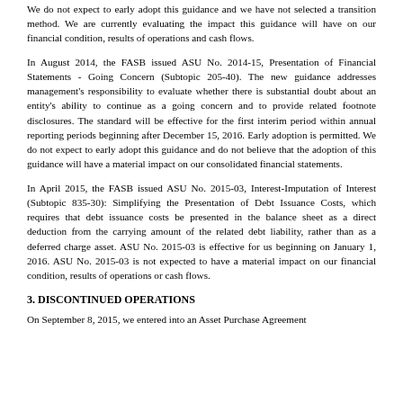We do not expect to early adopt this guidance and we have not selected a transition method. We are currently evaluating the impact this guidance will have on our financial condition, results of operations and cash flows.
In August 2014, the FASB issued ASU No. 2014-15, Presentation of Financial Statements - Going Concern (Subtopic 205-40). The new guidance addresses management's responsibility to evaluate whether there is substantial doubt about an entity's ability to continue as a going concern and to provide related footnote disclosures. The standard will be effective for the first interim period within annual reporting periods beginning after December 15, 2016. Early adoption is permitted. We do not expect to early adopt this guidance and do not believe that the adoption of this guidance will have a material impact on our consolidated financial statements.
In April 2015, the FASB issued ASU No. 2015-03, Interest-Imputation of Interest (Subtopic 835-30): Simplifying the Presentation of Debt Issuance Costs, which requires that debt issuance costs be presented in the balance sheet as a direct deduction from the carrying amount of the related debt liability, rather than as a deferred charge asset. ASU No. 2015-03 is effective for us beginning on January 1, 2016. ASU No. 2015-03 is not expected to have a material impact on our financial condition, results of operations or cash flows.
3. DISCONTINUED OPERATIONS
On September 8, 2015, we entered into an Asset Purchase Agreement